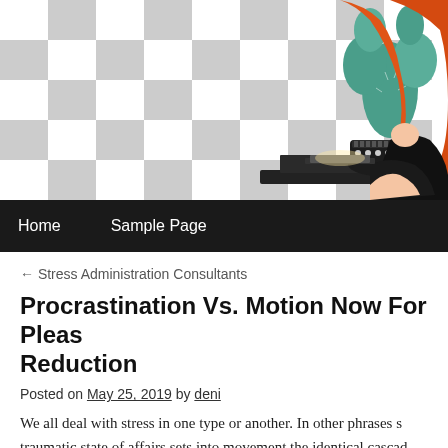[Figure (illustration): Blog header illustration showing a red-haired anime-style woman in black clothing kneeling next to a cactus in a dark pot, set against a grey checkerboard background.]
Home   Sample Page
← Stress Administration Consultants
Procrastination Vs. Motion Now For Pleasure Reduction
Posted on May 25, 2019 by deni
We all deal with stress in one type or another. In other phrases s traumatic state of affairs sets into movement the identical cascade our bloodstream as if we had been working away from that sabe one of the most trying problems an in individuals to d